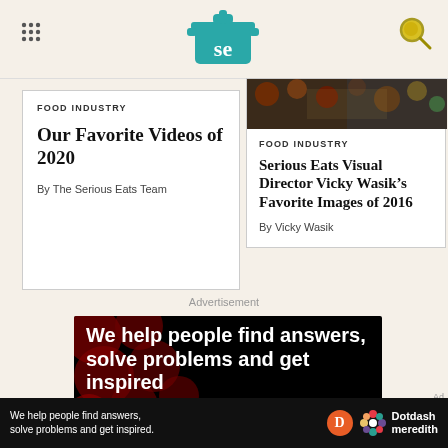Serious Eats logo header with navigation
FOOD INDUSTRY
Our Favorite Videos of 2020
By The Serious Eats Team
[Figure (photo): Food collage image thumbnail]
FOOD INDUSTRY
Serious Eats Visual Director Vicky Wasik’s Favorite Images of 2016
By Vicky Wasik
Advertisement
[Figure (photo): Dark advertisement banner with text: We help people find answers, solve problems and get inspired. Dotdash Meredith logo.]
Ad
[Figure (infographic): Bottom bar advertisement: We help people find answers, solve problems and get inspired. Dotdash Meredith logo.]